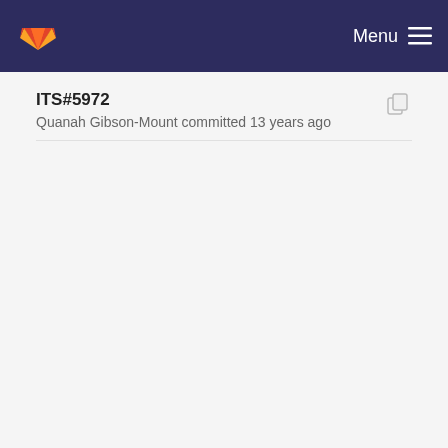Menu
ITS#5972
Quanah Gibson-Mount committed 13 years ago
ITS#6011
Quanah Gibson-Mount committed 13 years ago